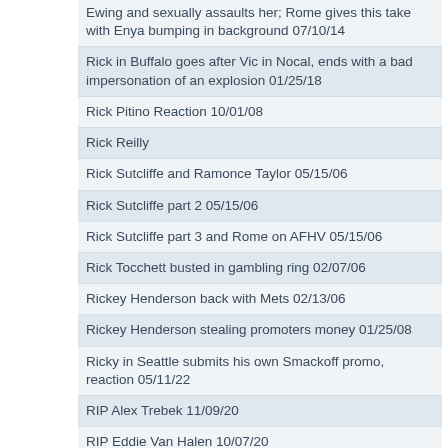Ewing and sexually assaults her; Rome gives this take with Enya bumping in background 07/10/14
Rick in Buffalo goes after Vic in Nocal, ends with a bad impersonation of an explosion 01/25/18
Rick Pitino Reaction 10/01/08
Rick Reilly
Rick Sutcliffe and Ramonce Taylor 05/15/06
Rick Sutcliffe part 2 05/15/06
Rick Sutcliffe part 3 and Rome on AFHV 05/15/06
Rick Tocchett busted in gambling ring 02/07/06
Rickey Henderson back with Mets 02/13/06
Rickey Henderson stealing promoters money 01/25/08
Ricky in Seattle submits his own Smackoff promo, reaction 05/11/22
RIP Alex Trebek 11/09/20
RIP Eddie Van Halen 10/07/20
Ritt disappoints everyone with a decent The Week That Was 06/10/22
Ritt gets to handle The Week That Was duties since Alvie is missing 06/08/22
Ritt hasn't had sugar in 30 days, Hawk says Dr. Pepper is a kids drink 09/15/20
Ritt is a fan of Weird Al 08/04/20
Ritt is drinking hot chocolate 11/20/19
Ritt plays a soundbite at the end of the Taylor Heinicke interview, upsets Rome 11/11/21